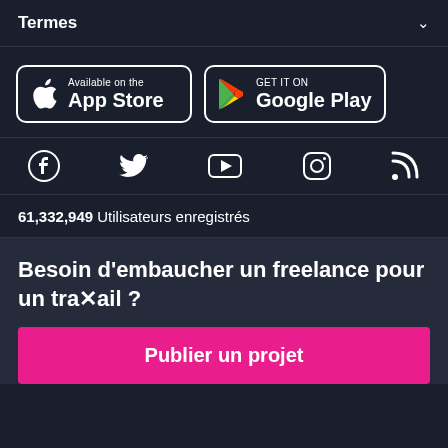Termes
[Figure (logo): App Store and Google Play download buttons side by side on dark background]
[Figure (infographic): Social media icons row: Facebook, Twitter, YouTube, Instagram, RSS]
61,332,949 Utilisateurs enregistrés
Besoin d'embaucher un freelance pour un travail ?
Publier un projet